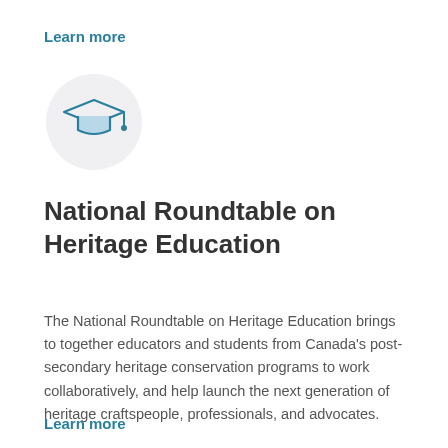Learn more
[Figure (illustration): Circular icon with a graduation cap (mortarboard) in teal/blue outline style on a light grey circle background]
National Roundtable on Heritage Education
The National Roundtable on Heritage Education brings to together educators and students from Canada's post-secondary heritage conservation programs to work collaboratively, and help launch the next generation of heritage craftspeople, professionals, and advocates.
Learn more